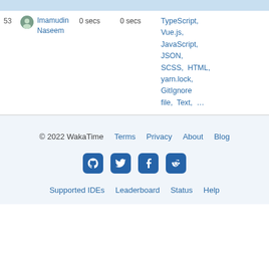| # | User | Daily Average | Today | Languages |
| --- | --- | --- | --- | --- |
| 53 | Imamudin Naseem | 0 secs | 0 secs | TypeScript, Vue.js, JavaScript, JSON, SCSS, HTML, yarn.lock, GitIgnore file, Text, ... |
© 2022 WakaTime   Terms   Privacy   About   Blog   [GitHub] [Twitter] [Facebook] [Reddit]   Supported IDEs   Leaderboard   Status   Help